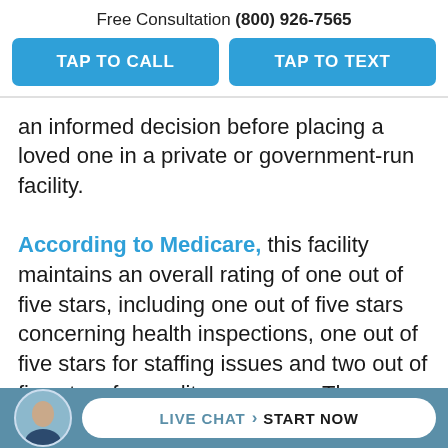Free Consultation (800) 926-7565
TAP TO CALL
TAP TO TEXT
an informed decision before placing a loved one in a private or government-run facility.

According to Medicare, this facility maintains an overall rating of one out of five stars, including one out of five stars concerning health inspections, one out of five stars for staffing issues and two out of five stars for quality measures. The McLean County neglect attorneys at Nursing Home Law Center have found serious deficiencies and safety concerns
LIVE CHAT › START NOW